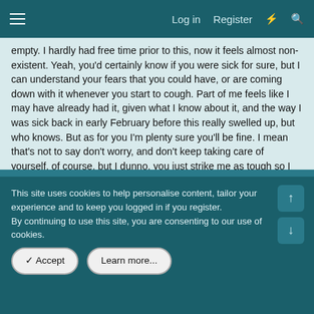Log in  Register
empty. I hardly had free time prior to this, now it feels almost non-existent. Yeah, you'd certainly know if you were sick for sure, but I can understand your fears that you could have, or are coming down with it whenever you start to cough. Part of me feels like I may have already had it, given what I know about it, and the way I was sick back in early February before this really swelled up, but who knows. But as for you I'm plenty sure you'll be fine. I mean that's not to say don't worry, and don't keep taking care of yourself, of course, but I dunno, you just strike me as tough so I feel like you'll end up being okay, and not getting sick yourself.
Apr 4, 2020
Hidden Mew
This site uses cookies to help personalise content, tailor your experience and to keep you logged in if you register.
By continuing to use this site, you are consenting to our use of cookies.